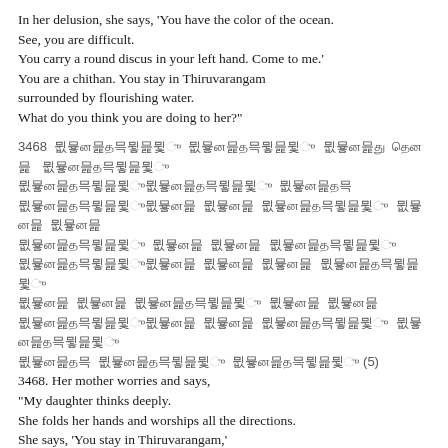In her delusion, she says, 'You have the color of the ocean. See, you are difficult. You carry a round discus in your left hand. Come to me.' You are a chithan. You stay in Thiruvarangam surrounded by flourishing water. What do you think you are doing to her?"
3468 [Tamil script verse lines] (5)
3468. Her mother worries and says, "My daughter thinks deeply. She folds her hands and worships all the directions. She says, 'You stay in Thiruvarangam,' Her eyes fill with tears and she worships you. She says, 'Come to me' and is fascinated with you. She says, 'Once, in the evening, you split open the body of Hiranyan. You are the sweet nectar that was churned from the milky ocean rolling with waves.'